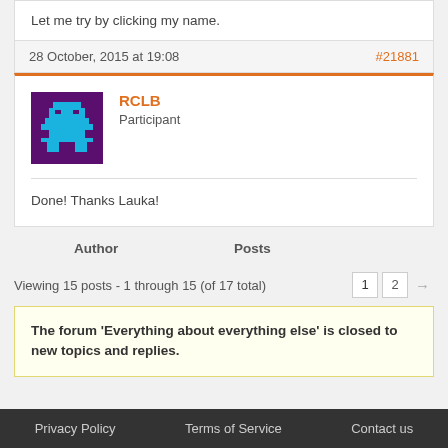Let me try by clicking my name.
28 October, 2015 at 19:08    #21881
[Figure (illustration): Pixel art avatar of a person sitting at a desk, teal on dark purple background]
RCLB
Participant
Done! Thanks Lauka!
| Author | Posts |
| --- | --- |
Viewing 15 posts - 1 through 15 (of 17 total)
The forum 'Everything about everything else' is closed to new topics and replies.
Privacy Policy    Terms of Service    Contact us